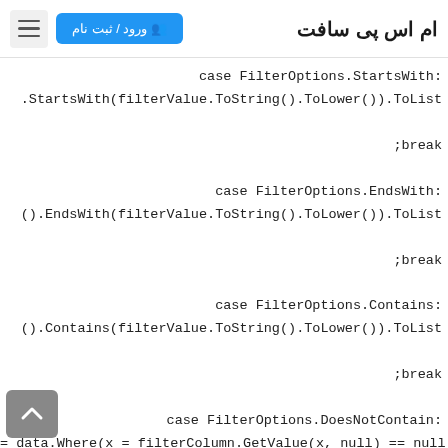ام اس پی سافت | ورود / ثبت نام
case FilterOptions.StartsWith:
.StartsWith(filterValue.ToString().ToLower()).ToList
;break
case FilterOptions.EndsWith:
().EndsWith(filterValue.ToString().ToLower()).ToList
;break
case FilterOptions.Contains:
().Contains(filterValue.ToString().ToLower()).ToList
;break
case FilterOptions.DoesNotContain:
= data.Where(x = filterColumn.GetValue(x, null) == null
!Contains(filterValue.ToString().ToLower()))
;break